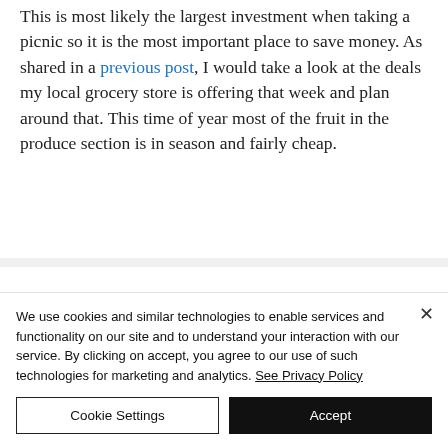This is most likely the largest investment when taking a picnic so it is the most important place to save money. As shared in a previous post, I would take a look at the deals my local grocery store is offering that week and plan around that. This time of year most of the fruit in the produce section is in season and fairly cheap.
We use cookies and similar technologies to enable services and functionality on our site and to understand your interaction with our service. By clicking on accept, you agree to our use of such technologies for marketing and analytics. See Privacy Policy